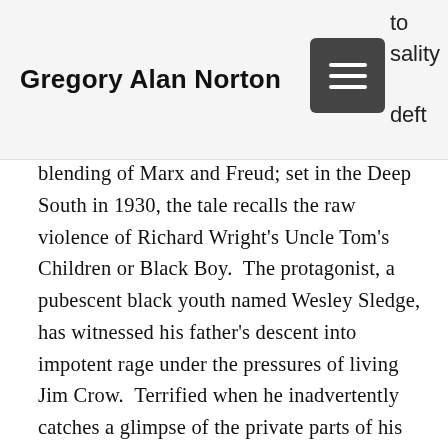Gregory Alan Norton
to sality deft blending of Marx and Freud; set in the Deep South in 1930, the tale recalls the raw violence of Richard Wright's Uncle Tom's Children or Black Boy.  The protagonist, a pubescent black youth named Wesley Sledge, has witnessed his father's descent into impotent rage under the pressures of living Jim Crow.  Terrified when he inadvertently catches a glimpse of the private parts of his white female employer, Wesley is traumatized into a hysterical blindness which dissipates only when his mother